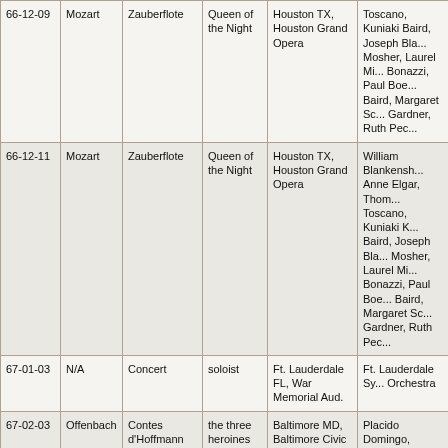| Date | Composer | Opera/Event | Role | Venue | Cast/Notes |
| --- | --- | --- | --- | --- | --- |
| 66-12-09 | Mozart | Zauberflote | Queen of the Night | Houston TX, Houston Grand Opera | Toscano, Kuniaki Baird, Joseph Bla... Mosher, Laurel Mi... Bonazzi, Paul Boe... Baird, Margaret Sc... Gardner, Ruth Pec... |
| 66-12-11 | Mozart | Zauberflote | Queen of the Night | Houston TX, Houston Grand Opera | William Blankensh... Anne Elgar, Thom... Toscano, Kuniaki ... Baird, Joseph Bla... Mosher, Laurel Mi... Bonazzi, Paul Boe... Baird, Margaret Sc... Gardner, Ruth Pec... |
| 67-01-03 | N/A | Concert | soloist | Ft. Lauderdale FL, War Memorial Aud. | Ft. Lauderdale Sy... Orchestra |
| 67-02-03 | Offenbach | Contes d'Hoffmann | the three heroines | Baltimore MD, Baltimore Civic Opera Company | Placido Domingo, Hankin |
| 67-02-04 | Offenbach | Contes d'Hoffmann | the three heroines | Baltimore MD, Baltimore Civic Opera Company | Placido Domingo, Treigle |
| 67-02-06 | Offenbach | Contes d'Hoffmann | the three heroines | Baltimore MD, Baltimore Civic Opera Company | Placido Domingo, Treigle |
| 67-02-11 | Mozart | Entfuhrung aus | Konstanza | New York City | D. Smith, Elgar, M... |